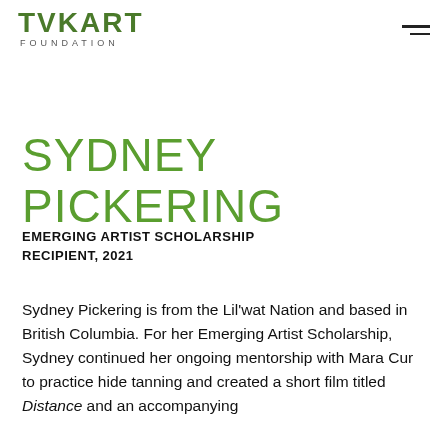FOUNDATION
SYDNEY PICKERING
EMERGING ARTIST SCHOLARSHIP RECIPIENT, 2021
Sydney Pickering is from the Lil'wat Nation and based in British Columbia. For her Emerging Artist Scholarship, Sydney continued her ongoing mentorship with Mara Cur to practice hide tanning and created a short film titled Distance and an accompanying